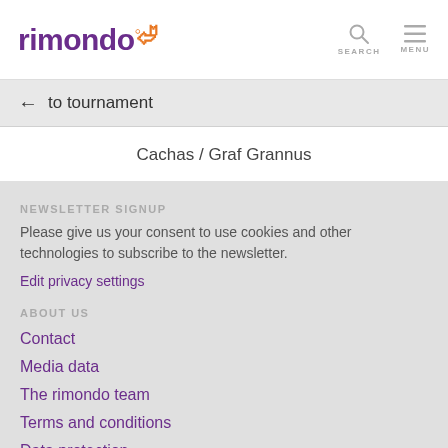rimondo SEARCH MENU
← to tournament
Cachas / Graf Grannus
NEWSLETTER SIGNUP
Please give us your consent to use cookies and other technologies to subscribe to the newsletter.
Edit privacy settings
ABOUT US
Contact
Media data
The rimondo team
Terms and conditions
Data protection